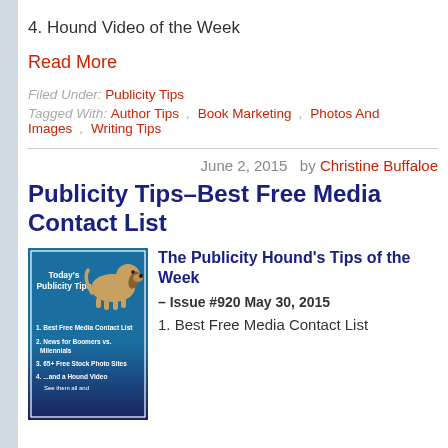4. Hound Video of the Week
Read More
Filed Under: Publicity Tips
Tagged With: Author Tips , Book Marketing , Photos And Images , Writing Tips
June 2, 2015  by  Christine Buffaloe
Publicity Tips–Best Free Media Contact List
[Figure (illustration): Book cover thumbnail for Today's Publicity Tips newsletter showing a cartoon hound dog and a list of 4 items]
The Publicity Hound's Tips of the Week
– Issue #920 May 30, 2015
1. Best Free Media Contact List